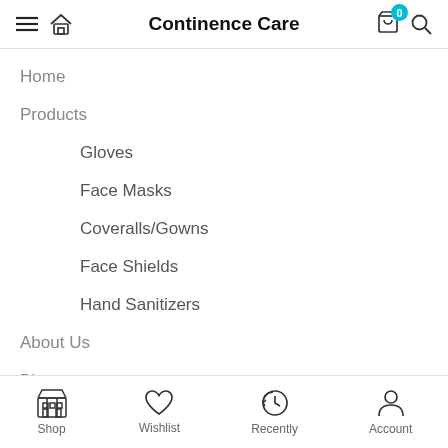Continence Care
Home
Products
Gloves
Face Masks
Coveralls/Gowns
Face Shields
Hand Sanitizers
About Us
Blogs
Contact Us
Shop  Wishlist  Recently  Account